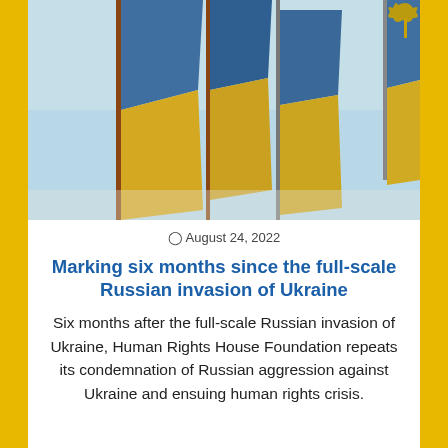[Figure (photo): Multiple Ukrainian flags with blue and yellow colors waving against a light blue sky, viewed from below at an angle.]
August 24, 2022
Marking six months since the full-scale Russian invasion of Ukraine
Six months after the full-scale Russian invasion of Ukraine, Human Rights House Foundation repeats its condemnation of Russian aggression against Ukraine and ensuing human rights crisis.